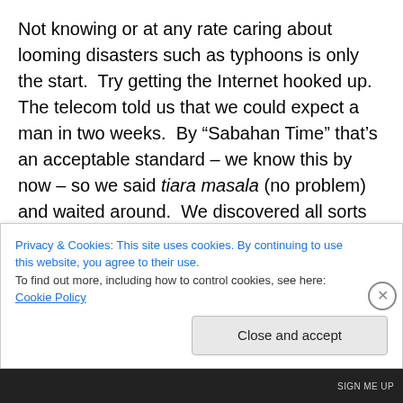Not knowing or at any rate caring about looming disasters such as typhoons is only the start.  Try getting the Internet hooked up.  The telecom told us that we could expect a man in two weeks.  By “Sabahan Time” that’s an acceptable standard – we know this by now – so we said tiara masala (no problem) and waited around.  We discovered all sorts of cool activities during that time.  Do you guys know about books?  Yeah, so the way it works is, you open the cover, and it’s like the Internet, except you don’t need to click on anything.  The words are there already.  It never seems to run out of power so it must run
Privacy & Cookies: This site uses cookies. By continuing to use this website, you agree to their use.
To find out more, including how to control cookies, see here: Cookie Policy
Close and accept
SIGN ME UP